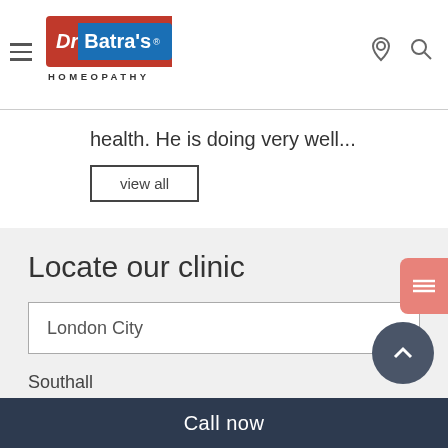[Figure (logo): Dr Batra's Homeopathy logo with red and blue background]
health. He is doing very well...
view all
Locate our clinic
London City
Southall
6 Beaconsfield Road, Southall, UB1 1DW, United Kingdom, Southall – UB1 1DW, London, United Kingdom
, Beaconsfield Road - W1G 9PS, London
Call now